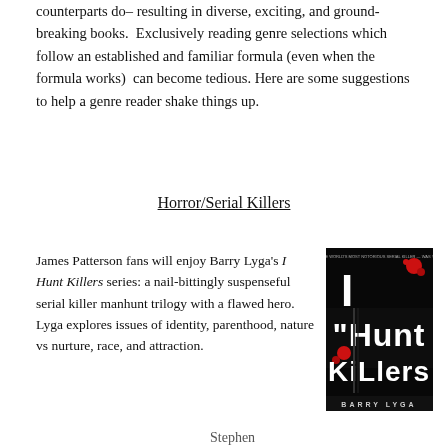counterparts do– resulting in diverse, exciting, and ground-breaking books.  Exclusively reading genre selections which follow an established and familiar formula (even when the formula works)  can become tedious. Here are some suggestions to help a genre reader shake things up.
Horror/Serial Killers
James Patterson fans will enjoy Barry Lyga's I Hunt Killers series: a nail-bittingly suspenseful serial killer manhunt trilogy with a flawed hero.  Lyga explores issues of identity, parenthood, nature vs nurture, race, and attraction.
[Figure (photo): Book cover of 'I Hunt Killers' by Barry Lyga — dark background with large white stylized text reading 'I Hunt Killers' with red blood splatter accents and the author name 'BARRY LYGA' at the bottom]
Stephen